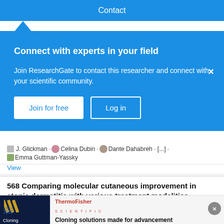Contact
Connect with experts in your field
Join ResearchGate to contact this researcher and connect with your scientific community.
Join for free
Log in
J. Glickman · Celina Dubin · Dante Dahabreh · [...] · Emma Guttman-Yassky
View
568 Comparing molecular cutaneous improvement in atopic dermatitis with various treatment modalities
[Figure (advertisement): ThermoFisher Scientific advertisement with dark background image showing stripes and 'Cloning' text label]
Cloning solutions made for advancement